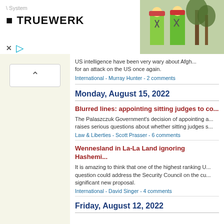[Figure (screenshot): Advertisement banner for TRUEWERK workwear with logo on the left and workers in hi-vis green shirts on the right]
US intelligence have been very wary about Afgh... for an attack on the US once again.
International - Murray Hunter - 2 comments
Monday, August 15, 2022
Blurred lines: appointing sitting judges to co...
The Palaszczuk Government's decision of appointing a... raises serious questions about whether sitting judges s...
Law & Liberties - Scott Prasser - 6 comments
Wennesland in La-La Land ignoring Hashemi...
It is amazing to think that one of the highest ranking U... question could address the Security Council on the cu... significant new proposal.
International - David Singer - 4 comments
Friday, August 12, 2022